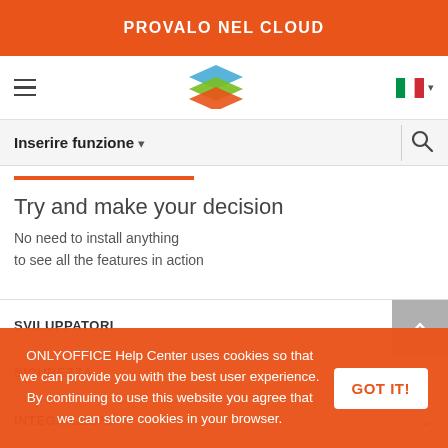PROVALO NEL CLOUD
[Figure (logo): ONLYOFFICE stacked layers logo in blue, green, orange]
Inserire funzione
Try and make your decision
No need to install anything to see all the features in action
SVILUPPATORI
SICUREZZA
ONLYOFFICE Help Center uses cookies so that we can provide you with the best user experience. By continuing to use this website you agree that we can store cookies in your browser.
INTEGRAZIONI